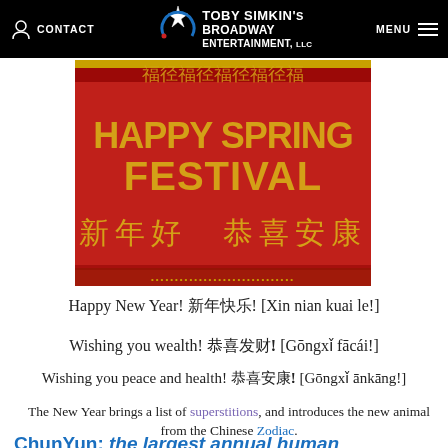CONTACT | TOBY SIMKIN'S BROADWAY ENTERTAINMENT, LLC | MENU
[Figure (photo): Red banner reading 'HAPPY SPRING FESTIVAL' in gold text, with Chinese characters 新年好 恭喜安康 below]
Happy New Year! 新年快乐! [Xin nian kuai le!]
Wishing you wealth! 恭喜发财! [Gōngxǐ fācái!]
Wishing you peace and health! 恭喜安康! [Gōngxǐ ānkāng!]
The New Year brings a list of superstitions, and introduces the new animal from the Chinese Zodiac.
ChunYun: the largest annual human migration in the world